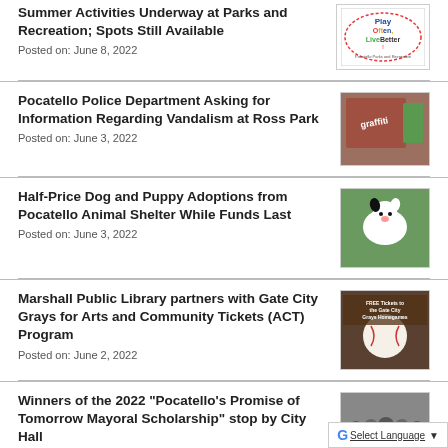Summer Activities Underway at Parks and Recreation; Spots Still Available
Posted on: June 8, 2022
[Figure (logo): Play Often, Live Better - Pocatello Parks and Recreation logo]
Pocatello Police Department Asking for Information Regarding Vandalism at Ross Park
Posted on: June 3, 2022
[Figure (photo): Photo of graffiti vandalism at Ross Park]
Half-Price Dog and Puppy Adoptions from Pocatello Animal Shelter While Funds Last
Posted on: June 3, 2022
[Figure (photo): Photo of a black and white dog]
Marshall Public Library partners with Gate City Grays for Arts and Community Tickets (ACT) Program
Posted on: June 2, 2022
[Figure (photo): Image of a baseball with text: FREE Tickets to the Gate City Grays Homegames]
Winners of the 2022 "Pocatello's Promise of Tomorrow Mayoral Scholarship" stop by City Hall
Posted on: June 2, 2022
[Figure (photo): Group photo at City Hall]